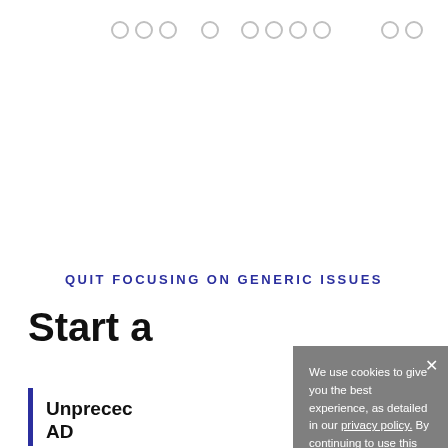navigation icons row
QUIT FOCUSING ON GENERIC ISSUES
Start a
Unprecedc... AD
We use cookies to give you the best experience, as detailed in our privacy policy. By continuing to use this website, you consent to the use of cookies.
Cookie Settings